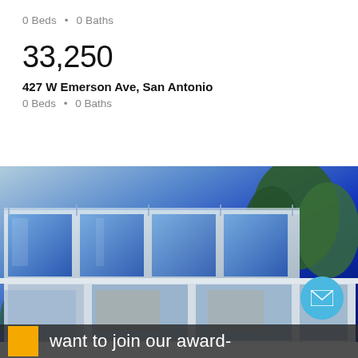0 Beds • 0 Baths
33,250
427 W Emerson Ave, San Antonio
0 Beds • 0 Baths
[Figure (photo): Modern two-story building with large glass windows and balcony railing, photographed at dusk with blue sky and trees in background]
want to join our award-